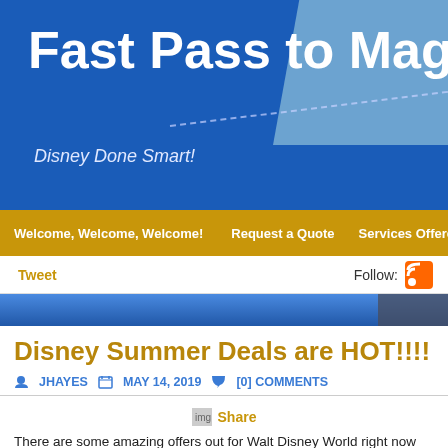Fast Pass to Magic
Disney Done Smart!
Welcome, Welcome, Welcome!  |  Request a Quote  |  Services Offered
Tweet
Follow:
Disney Summer Deals are HOT!!!!
JHAYES   MAY 14, 2019   [0] COMMENTS
Share
There are some amazing offers out for Walt Disney World right now and s... All new clients will receive a GIFT CARD BONUS when they book with u... for you to use when you book your vacation with one of our agents. Simp... started on your vacation today or fill out our quote request form here!
SUMMER FREE MEAL OFFER